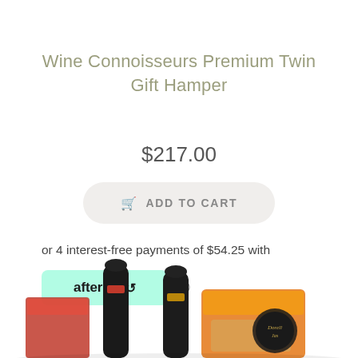Wine Connoisseurs Premium Twin Gift Hamper
$217.00
ADD TO CART
or 4 interest-free payments of $54.25 with
[Figure (logo): Afterpay logo badge in mint/teal green rounded rectangle with black 'afterpay' text and arrow icon]
[Figure (photo): Product photo showing wine bottles and gift hamper items including packaged goods with orange and brown packaging, partially visible at bottom of page]